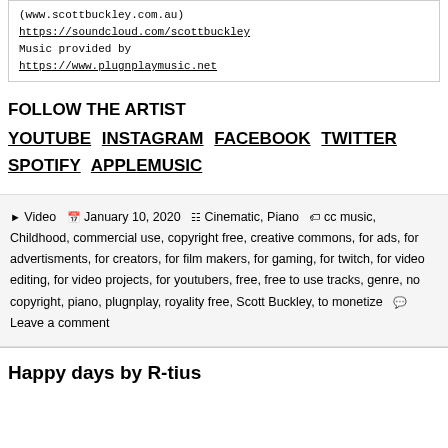(www.scottbuckley.com.au)
https://soundcloud.com/scottbuckley
Music provided by
https://www.plugnplaymusic.net
FOLLOW THE ARTIST
YOUTUBE INSTAGRAM FACEBOOK TWITTER SPOTIFY APPLEMUSIC
Posted in Video | January 10, 2020 | Categories: Cinematic, Piano | Tags: cc music, Childhood, commercial use, copyright free, creative commons, for ads, for advertisments, for creators, for film makers, for gaming, for twitch, for video editing, for video projects, for youtubers, free, free to use tracks, genre, no copyright, piano, plugnplay, royality free, Scott Buckley, to monetize | Leave a comment
Happy days by R-tius